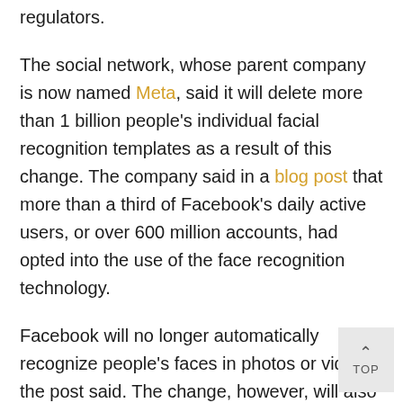regulators.
The social network, whose parent company is now named Meta, said it will delete more than 1 billion people's individual facial recognition templates as a result of this change. The company said in a blog post that more than a third of Facebook's daily active users, or over 600 million accounts, had opted into the use of the face recognition technology.
Facebook will no longer automatically recognize people's faces in photos or videos, the post said. The change, however, will also impact the automatic alt text technology that the company uses to describe images for people who are blind or visually impaired. Facebook services that rely on the face recognition systems will be removed over the coming weeks.